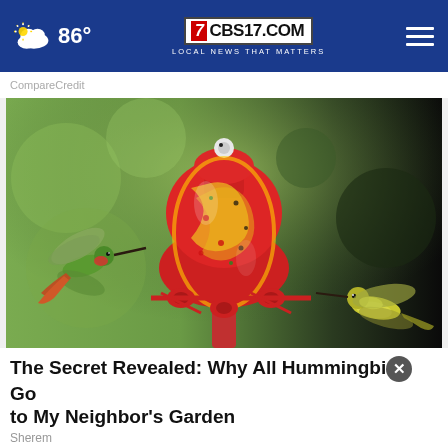86° | CBS17.COM LOCAL NEWS THAT MATTERS
CompareCredit
[Figure (photo): A colorful red, yellow and green glass hummingbird feeder in the center, with two hummingbirds — one hovering on the left in green and one perched on the right in yellow-green — against a blurred green and dark background.]
The Secret Revealed: Why All Hummingbirds Go to My Neighbor's Garden
Sherem